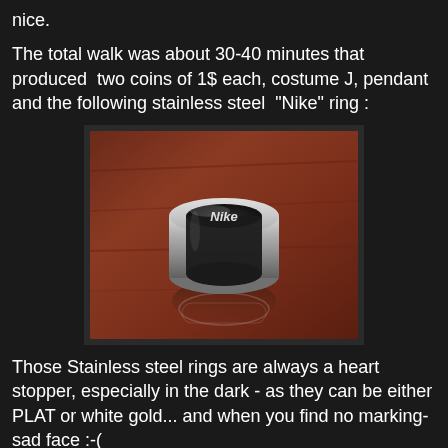nice.
The total walk was about 30-40 minutes that produced  two coins of 1$ each, costume J, pendant and the following stainless steel  "Nike" ring :
[Figure (photo): A stainless steel ring with Nike logo engraving, sitting on a dark reddish-brown wooden surface, with a reflection visible below.]
Those Stainless steel rings are always a heart stopper, especially in the dark - as they can be either PLAT or white gold... and when you find no marking- sad face :-(
thanks for stopping by.
Max